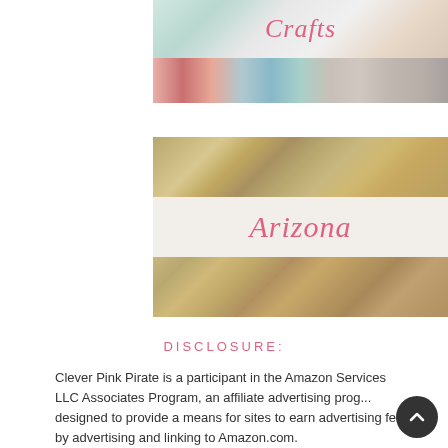[Figure (photo): Crafts category banner image showing bowls and patterned papers/washi tape on a turquoise surface, with pink cursive 'Crafts' text overlaid]
[Figure (photo): Arizona category banner image showing sandy rock formations/cliff dwellings, with pink cursive 'Arizona' text overlaid on a semi-transparent white band]
DISCLOSURE:
Clever Pink Pirate is a participant in the Amazon Services LLC Associates Program, an affiliate advertising prog... designed to provide a means for sites to earn advertising fees by advertising and linking to Amazon.com.